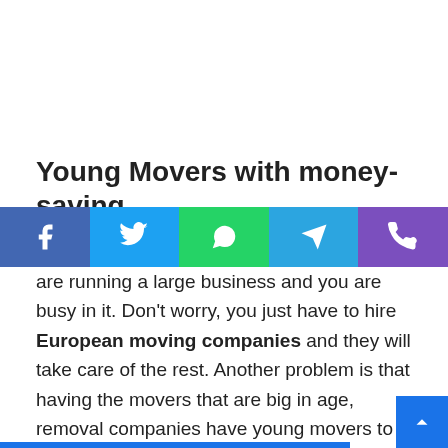Young Movers with money-saving
[Figure (infographic): Social share bar with 5 buttons: Facebook (blue), Twitter (cyan), WhatsApp (green), Telegram (light blue), Phone (purple)]
are running a large business and you are busy in it. Don't worry, you just have to hire European moving companies and they will take care of the rest. Another problem is that having the movers that are big in age, removal companies have young movers to move your things. They can easily move heavyweight things.
Another reason that why you should hire a professional European removals service is that it is cost-effective. Moving companies will provide you with moving Quotes in London, make sure you know that how much cost you have to spend on moving.